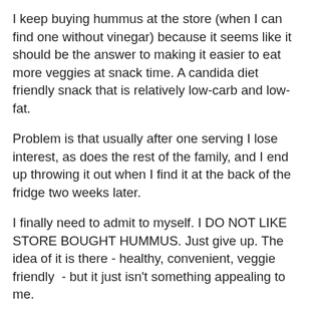I keep buying hummus at the store (when I can find one without vinegar) because it seems like it should be the answer to making it easier to eat more veggies at snack time. A candida diet friendly snack that is relatively low-carb and low-fat.
Problem is that usually after one serving I lose interest, as does the rest of the family, and I end up throwing it out when I find it at the back of the fridge two weeks later.
I finally need to admit to myself. I DO NOT LIKE STORE BOUGHT HUMMUS. Just give up. The idea of it is there - healthy, convenient, veggie friendly  - but it just isn't something appealing to me.
Not quite ready to give up on it I thought I would experiment a bit in making my own. I didn't add any Tahini because I didn't have any (that wasn't way past its best before) but you could if you so choose. It didn't need it.
I doctored my version up to make it PIZZA inspired. Because everyone in my house loves pizza. Check out my Insanely